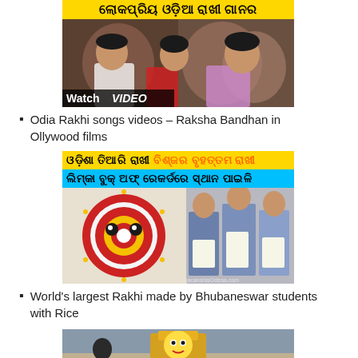[Figure (screenshot): Odia film scene thumbnail with yellow banner text in Odia script and Watch VIDEO badge]
Odia Rakhi songs videos – Raksha Bandhan in Ollywood films
[Figure (screenshot): Large Rakhi made of rice by Bhubaneswar students, with Odia text banners in yellow and cyan, and image of people holding certificates]
World's largest Rakhi made by Bhubaneswar students with Rice
[Figure (photo): Photo of Jagannath idol on beach/outdoor setting]